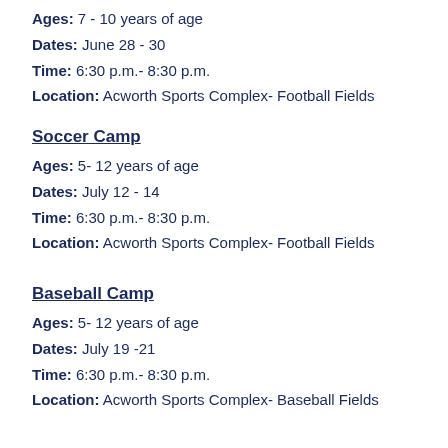Ages: 7 - 10 years of age
Dates: June 28 - 30
Time: 6:30 p.m.- 8:30 p.m.
Location: Acworth Sports Complex- Football Fields
Soccer Camp
Ages: 5- 12 years of age
Dates: July 12 - 14
Time: 6:30 p.m.- 8:30 p.m.
Location: Acworth Sports Complex- Football Fields
Baseball Camp
Ages: 5- 12 years of age
Dates: July 19 -21
Time: 6:30 p.m.- 8:30 p.m.
Location: Acworth Sports Complex- Baseball Fields
REGISTER FOR ACWORTH SUMMER SPORTS CAMPS HERE